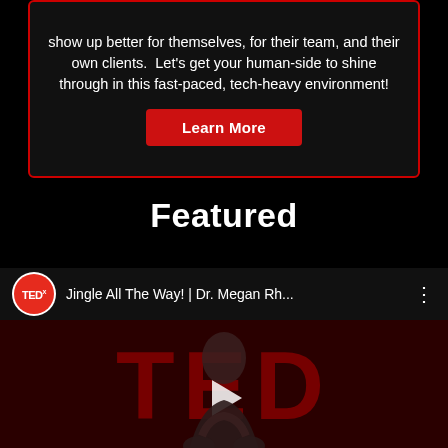show up better for themselves, for their team, and their own clients.  Let’s get your human-side to shine through in this fast-paced, tech-heavy environment!
Learn More
Featured
Jingle All The Way! | Dr. Megan Rh...
[Figure (screenshot): TEDx video thumbnail showing a woman speaker on stage in front of large red TED letters, with a play button overlay]